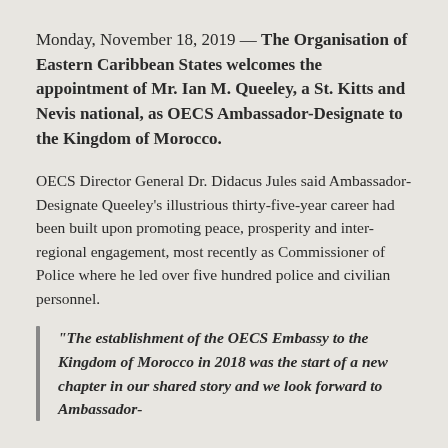Monday, November 18, 2019 — The Organisation of Eastern Caribbean States welcomes the appointment of Mr. Ian M. Queeley, a St. Kitts and Nevis national, as OECS Ambassador-Designate to the Kingdom of Morocco.
OECS Director General Dr. Didacus Jules said Ambassador-Designate Queeley's illustrious thirty-five-year career had been built upon promoting peace, prosperity and inter-regional engagement, most recently as Commissioner of Police where he led over five hundred police and civilian personnel.
“The establishment of the OECS Embassy to the Kingdom of Morocco in 2018 was the start of a new chapter in our shared story and we look forward to Ambassador-